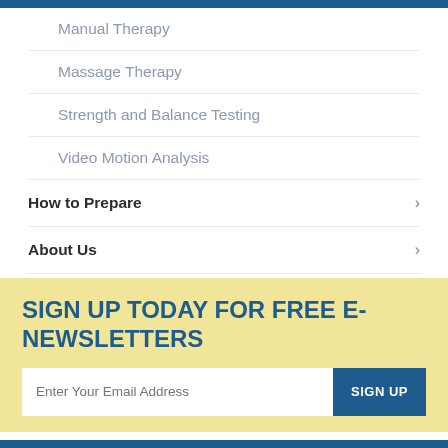Manual Therapy
Massage Therapy
Strength and Balance Testing
Video Motion Analysis
How to Prepare
About Us
SIGN UP TODAY FOR FREE E-NEWSLETTERS
Enter Your Email Address